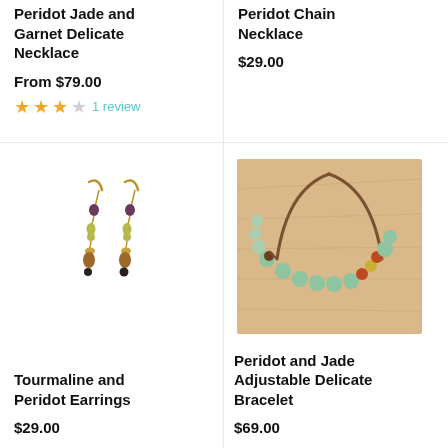Peridot Jade and Garnet Delicate Necklace
From $79.00
★★★☆ 1 review
Peridot Chain Necklace
$29.00
[Figure (photo): Pair of dangling earrings with beads in dark purple, yellow-green and brown/tiger eye colors on gold-tone hooks]
Tourmaline and Peridot Earrings
$29.00
[Figure (photo): Adjustable bracelet with mint green jade beads and orange/red accent beads on a brown cord with a sliding knot closure, displayed on a wood surface]
Peridot and Jade Adjustable Delicate Bracelet
$69.00